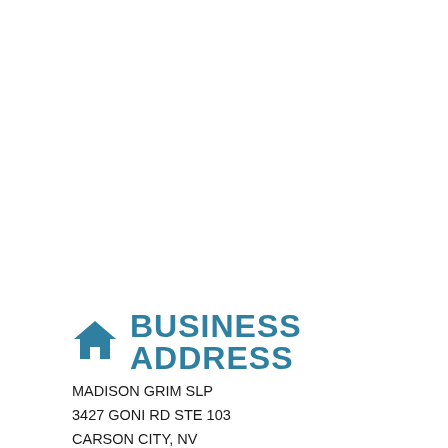BUSINESS ADDRESS
MADISON GRIM SLP
3427 GONI RD STE 103
CARSON CITY, NV
ZIP 89706